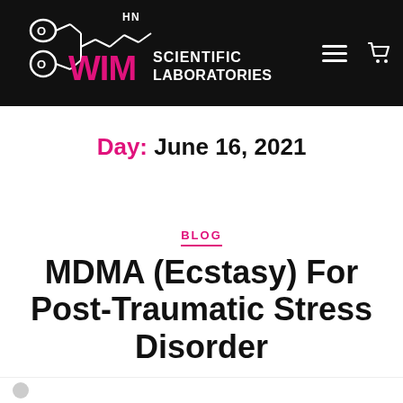[Figure (logo): WIM Scientific Laboratories logo with molecule structure on black background, hamburger menu icon, and cart icon]
Day: June 16, 2021
BLOG
MDMA (Ecstasy) For Post-Traumatic Stress Disorder